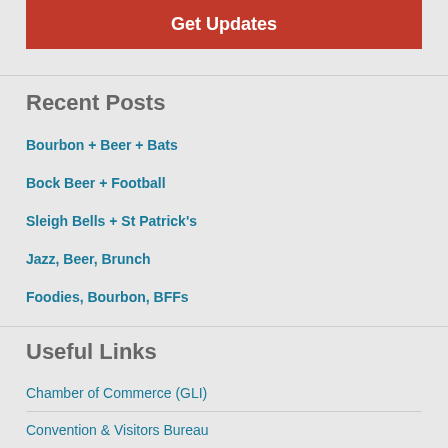Get Updates
Recent Posts
Bourbon + Beer + Bats
Bock Beer + Football
Sleigh Bells + St Patrick's
Jazz, Beer, Brunch
Foodies, Bourbon, BFFs
Useful Links
Chamber of Commerce (GLI)
Convention & Visitors Bureau
Driver's License